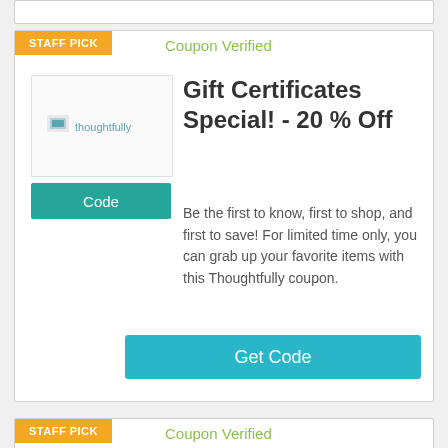STAFF PICK
Coupon Verified
[Figure (logo): Thoughtfully brand logo with small image icon and text]
Code
Gift Certificates Special! - 20 % Off
Be the first to know, first to shop, and first to save! For limited time only, you can grab up your favorite items with this Thoughtfully coupon.
Get Code
STAFF PICK
Coupon Verified
Great Sale Time -